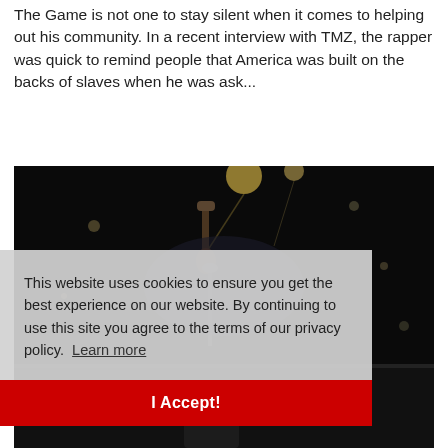The Game is not one to stay silent when it comes to helping out his community. In a recent interview with TMZ, the rapper was quick to remind people that America was built on the backs of slaves when he was ask...
[Figure (photo): Dark concert/performance photo showing a performer on stage holding a microphone, with stage lighting visible in the background]
This website uses cookies to ensure you get the best experience on our website. By continuing to use this site you agree to the terms of our privacy policy. Learn more
I Accept!